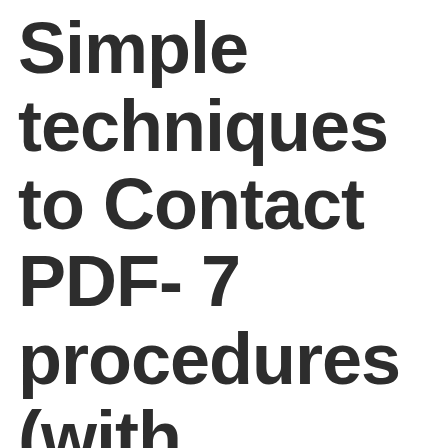Simple techniques to Contact PDF- 7 procedures (with